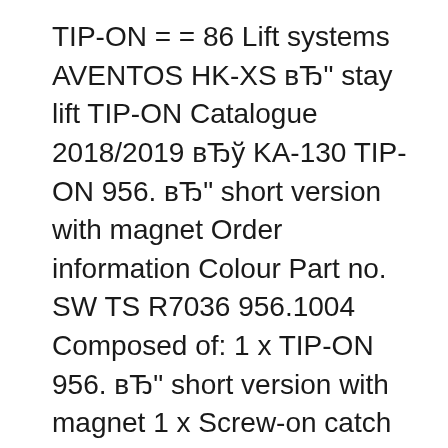TIP-ON = = 86 Lift systems AVENTOS HK-XS вЂ" stay lift TIP-ON Catalogue 2018/2019 вЂў KA-130 TIP-ON 956. вЂ" short version with magnet Order information Colour Part no. SW TS R7036 956.1004 Composed of: 1 x TIP-ON 956. вЂ" short version with magnet 1 x Screw-on catch plate 1 x Glue-on catch plate SW Silk white TS Terra black R7036 RAL 7036 platinum grey Planning Screw-on catch plate Screw AVENTOS HS components can be assembled with ease and adjusted with precision. Home Products Innovations & topics products. Pull-out shelf lock. MOVENTO and TANDEM pull-out shelves lock securely into place. Innovation. Pocket systems.